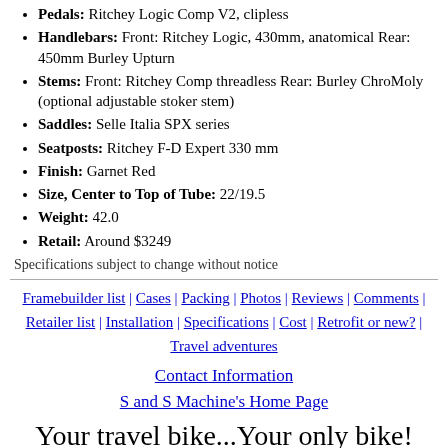Pedals: Ritchey Logic Comp V2, clipless
Handlebars: Front: Ritchey Logic, 430mm, anatomical Rear: 450mm Burley Upturn
Stems: Front: Ritchey Comp threadless Rear: Burley ChroMoly (optional adjustable stoker stem)
Saddles: Selle Italia SPX series
Seatposts: Ritchey F-D Expert 330 mm
Finish: Garnet Red
Size, Center to Top of Tube: 22/19.5
Weight: 42.0
Retail: Around $3249
Specifications subject to change without notice
Framebuilder list | Cases | Packing | Photos | Reviews | Comments | Retailer list | Installation | Specifications | Cost | Retrofit or new? | Travel adventures
Contact Information
S and S Machine's Home Page
Your travel bike...Your only bike!